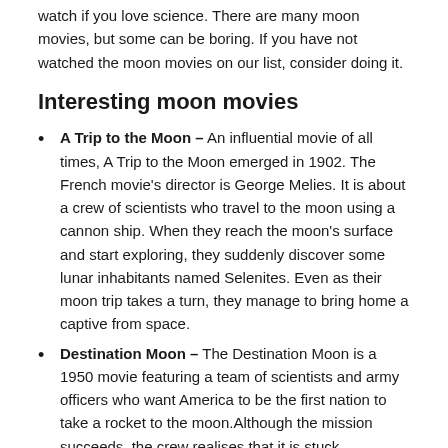watch if you love science. There are many moon movies, but some can be boring. If you have not watched the moon movies on our list, consider doing it.
Interesting moon movies
A Trip to the Moon – An influential movie of all times, A Trip to the Moon emerged in 1902. The French movie's director is George Melies. It is about a crew of scientists who travel to the moon using a cannon ship. When they reach the moon's surface and start exploring, they suddenly discover some lunar inhabitants named Selenites. Even as their moon trip takes a turn, they manage to bring home a captive from space.
Destination Moon – The Destination Moon is a 1950 movie featuring a team of scientists and army officers who want America to be the first nation to take a rocket to the moon. Although the mission succeeds, the crew realises that it is stuck. Suddenly, a man says he did not want to come and does not understand how he got here.
2001: A Space Odyssey – A year before the first landing